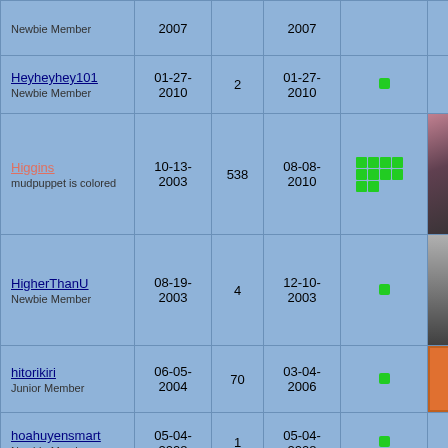| Username / Rank | Join Date | Posts | Last Post | Status | Avatar |
| --- | --- | --- | --- | --- | --- |
| Newbie Member | 2007 |  | 2007 | ● |  |
| Heyheyhey101
Newbie Member | 01-27-2010 | 2 | 01-27-2010 | ● |  |
| Higgins
mudpuppet is colored | 10-13-2003 | 538 | 08-08-2010 | ■■■■■■■■■■ | (photo) |
| HigherThanU
Newbie Member | 08-19-2003 | 4 | 12-10-2003 | ● | (partial avatar) |
| hitorikiri
Junior Member | 06-05-2004 | 70 | 03-04-2006 | ● | (orange avatar) |
| hoahuyensmart
Newbie Member | 05-04-2008 | 1 | 05-04-2008 | ● |  |
| Hobbit Fancier
Newbie Member | 05-14-2003 | 3 | 05-16-2003 | ● |  |